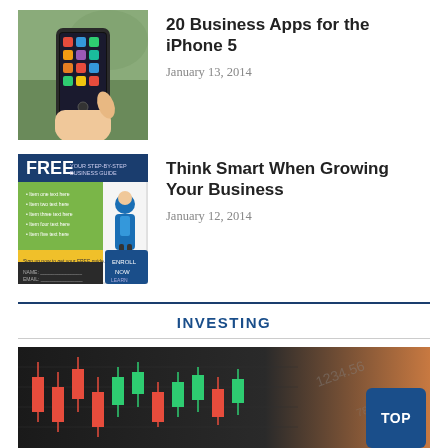[Figure (photo): Hand holding an iPhone 5 with colorful app icons visible on the screen, outdoors background]
20 Business Apps for the iPhone 5
January 13, 2014
[Figure (photo): FREE business guide flyer/brochure with a businesswoman illustration and green checklist content]
Think Smart When Growing Your Business
January 12, 2014
INVESTING
[Figure (photo): Stock market candlestick chart with red and green candles on a dark background, with a TOP button overlay]